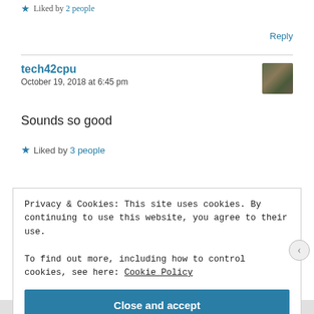★ Liked by 2 people
Reply
tech42cpu
October 19, 2018 at 6:45 pm
[Figure (photo): User avatar thumbnail photo of tech42cpu]
Sounds so good
★ Liked by 3 people
Privacy & Cookies: This site uses cookies. By continuing to use this website, you agree to their use.
To find out more, including how to control cookies, see here: Cookie Policy
Close and accept